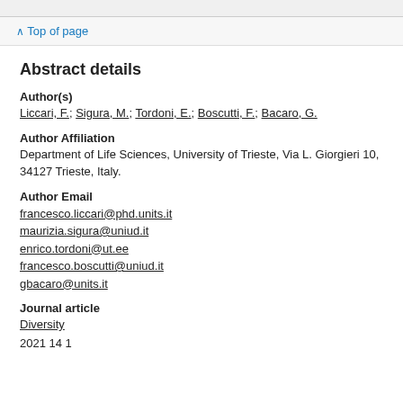Abstract details
Author(s)
Liccari, F.; Sigura, M.; Tordoni, E.; Boscutti, F.; Bacaro, G.
Author Affiliation
Department of Life Sciences, University of Trieste, Via L. Giorgieri 10, 34127 Trieste, Italy.
Author Email
francesco.liccari@phd.units.it
maurizia.sigura@uniud.it
enrico.tordoni@ut.ee
francesco.boscutti@uniud.it
gbacaro@units.it
Journal article
Diversity
2021 14 1